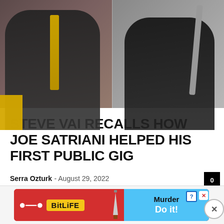[Figure (photo): Two musicians side by side — left person in dark jacket near microphone, right person in black t-shirt with guitar strap]
STEVE VAI RECALLS HOW JOE SATRIANI HELPED HIS FIRST PUBLIC GIG
Serra Ozturk - August 29, 2022
[Figure (screenshot): BitLife advertisement banner showing 'Murder Do it!' with red and blue colors]